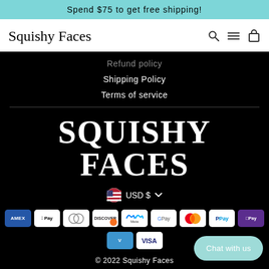Spend $75 to get free shipping!
[Figure (logo): Squishy Faces script logo in top navigation bar]
Refund policy
Shipping Policy
Terms of service
SQUISHY FACES
USD $
[Figure (infographic): Payment method icons: Amex, Apple Pay, Diners Club, Discover, Meta Pay, Google Pay, Mastercard, PayPal, Shop Pay, Venmo, Visa]
© 2022 Squishy Faces